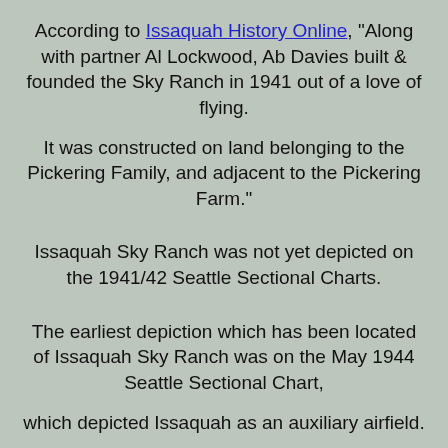According to Issaquah History Online, “Along with partner Al Lockwood, Ab Davies built & founded the Sky Ranch in 1941 out of a love of flying.
It was constructed on land belonging to the Pickering Family, and adjacent to the Pickering Farm.”
Issaquah Sky Ranch was not yet depicted on the 1941/42 Seattle Sectional Charts.
The earliest depiction which has been located of Issaquah Sky Ranch was on the May 1944 Seattle Sectional Chart,
which depicted Issaquah as an auxiliary airfield.